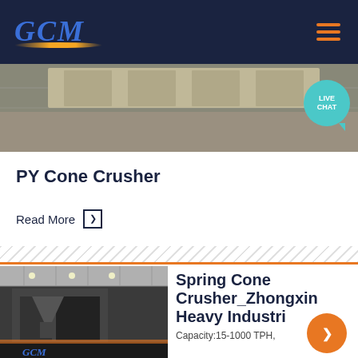GCM
[Figure (photo): Industrial equipment or machinery on a factory floor, banner image at top of page]
PY Cone Crusher
Read More →
[Figure (photo): Large spring cone crusher machine in an industrial warehouse/factory setting, with GCM logo visible]
Spring Cone Crusher_Zhongxin Heavy Industri…
Capacity:15-1000 TPH,